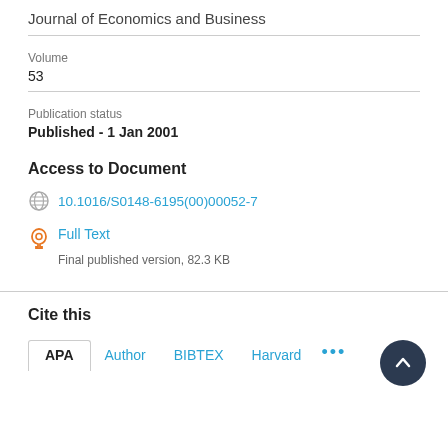Journal of Economics and Business
Volume
53
Publication status
Published - 1 Jan 2001
Access to Document
10.1016/S0148-6195(00)00052-7
Full Text
Final published version, 82.3 KB
Cite this
APA  Author  BIBTEX  Harvard  ...